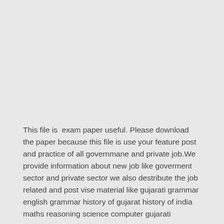This file is  exam paper useful. Please download the paper because this file is use your feature post and practice of all governmane and private job.We provide information about new job like goverment sector and private sector we also destribute the job related and post vise material like gujarati grammar english grammar history of gujarat history of india maths reasoning science computer gujarati